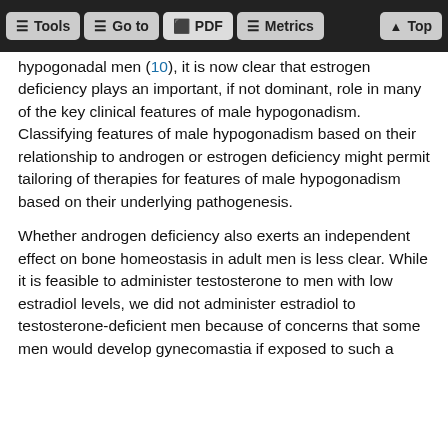Tools | Go to | PDF | Metrics | Top
hypogonadal men (10), it is now clear that estrogen deficiency plays an important, if not dominant, role in many of the key clinical features of male hypogonadism. Classifying features of male hypogonadism based on their relationship to androgen or estrogen deficiency might permit tailoring of therapies for features of male hypogonadism based on their underlying pathogenesis.
Whether androgen deficiency also exerts an independent effect on bone homeostasis in adult men is less clear. While it is feasible to administer testosterone to men with low estradiol levels, we did not administer estradiol to testosterone-deficient men because of concerns that some men would develop gynecomastia if exposed to such a